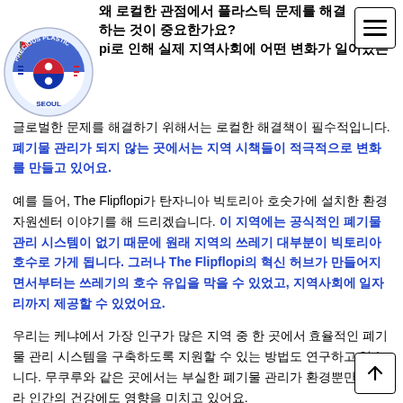왜 로컬한 관점에서 플라스틱 문제를 해결하는 것이 중요한가요? Flipflopi로 인해 실제 지역사회에 어떤 변화가 일어났는가
[Figure (logo): Precious Plastic Seoul circular logo with Korean flag motif and a flag/shovel icon]
글로벌한 문제를 해결하기 위해서는 로컬한 해결책이 필수적입니다. 폐기물 관리가 되지 않는 곳에서는 지역 시책들이 적극적으로 변화를 만들고 있어요.
예를 들어, The Flipflopi가 탄자니아 빅토리아 호숫가에 설치한 환경자원센터 이야기를 해 드리겠습니다. 이 지역에는 공식적인 폐기물 관리 시스템이 없기 때문에 원래 지역의 쓰레기 대부분이 빅토리아 호수로 가게 됩니다. 그러나 The Flipflopi의 혁신 허브가 만들어지면서부터는 쓰레기의 호수 유입을 막을 수 있었고, 지역사회에 일자리까지 제공할 수 있었어요.
우리는 케냐에서 가장 인구가 많은 지역 중 한 곳에서 효율적인 폐기물 관리 시스템을 구축하도록 지원할 수 있는 방법도 연구하고 있습니다. 무쿠루와 같은 곳에서는 부실한 폐기물 관리가 환경뿐만 아니라 인간의 건강에도 영향을 미치고 있어요.
또한 The Flipflopi는 Lamu 섬에 우리가 수거한 플라스틱 쓰레기를